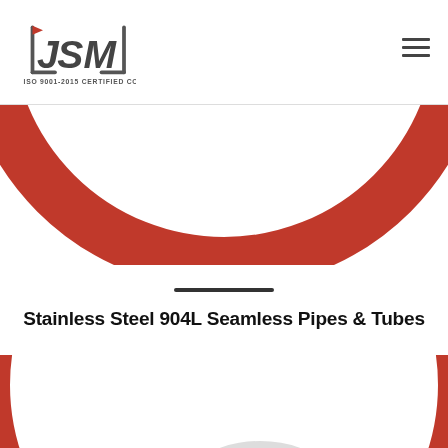Jade Special Metals — ISO 9001-2015 CERTIFIED COMPANY
[Figure (illustration): Red circular arc decorative element (top portion of a large red ring), partially cropped at top of content area]
Stainless Steel 904L Seamless Pipes & Tubes
[Figure (photo): Red circular arc decorative element (bottom portion) with stainless steel seamless pipes/tubes visible inside the circle, partially cropped at bottom of page. A red back-to-top button with upward chevron is visible at bottom right.]